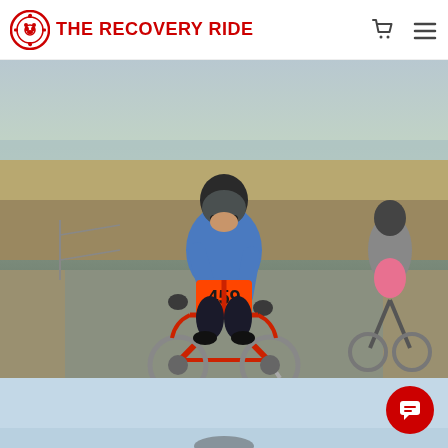THE RECOVERY RIDE
[Figure (photo): A cyclist wearing a blue jacket and number bib 459 riding a red road bicycle on a paved path outdoors. Another cyclist is visible in the background on the right.]
[Figure (photo): Partial view of a second photo showing a light blue sky background, partially cut off at the bottom of the page.]